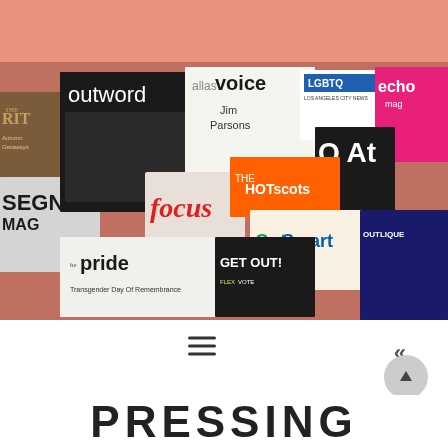[Figure (photo): Collage of LGBTQ+ magazine and publication covers including outword, dallas voice, LGBTQ, echo mag, Q Atlanta, focus, HOTscots, OutSmart, OUTLIQUE, GET OUT!, The Pride, SEGN MAG on a salmon/rose colored background]
≡
«
PRESSING